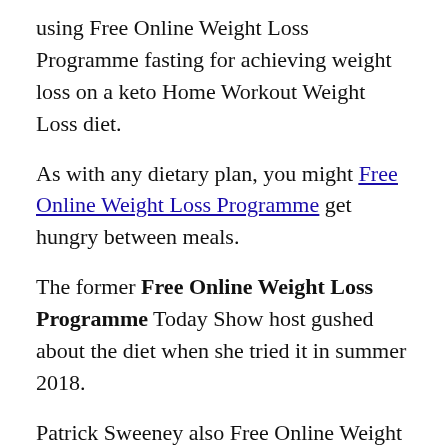using Free Online Weight Loss Programme fasting for achieving weight loss on a keto Home Workout Weight Loss diet.
As with any dietary plan, you might Free Online Weight Loss Programme get hungry between meals.
The former Free Online Weight Loss Programme Today Show host gushed about the diet when she tried it in summer 2018.
Patrick Sweeney also Free Online Weight Loss Programme lectures on the ketogenic diet at conferences around the country Apple cider vinegar to lose weight reviews and Free Online Weight Loss Programme coaches others to adopt a life of adventure.